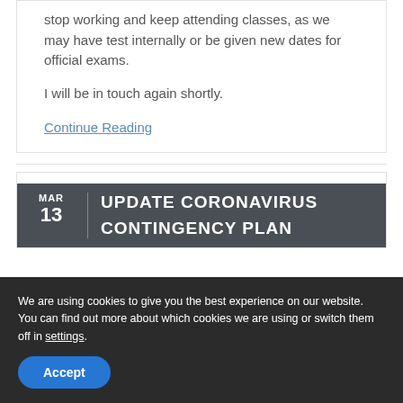stop working and keep attending classes, as we may have test internally or be given new dates for official exams.
I will be in touch again shortly.
Continue Reading
MAR 13 UPDATE CORONAVIRUS CONTINGENCY PLAN
We are using cookies to give you the best experience on our website.
You can find out more about which cookies we are using or switch them off in settings.
Accept